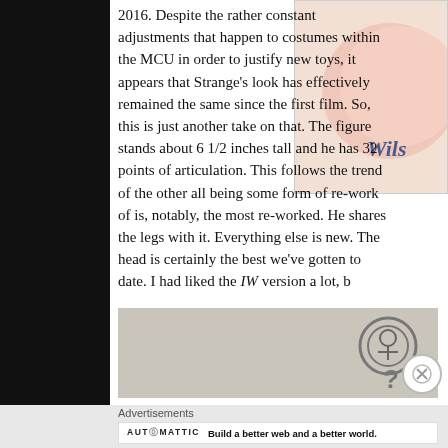2018. Despite the rather constant adjustments that happen to costumes within the MCU in order to justify new toys, it appears that Strange's look has effectively remained the same since the first film. So, this is just another take on that. The figure stands about 6 1/2 inches tall and he has 32 points of articulation. This follows the trend of the other all being some form of re-work of it. Everything else is new. The head is certainly the best we've gotten to date. I had liked the IW version a lot, b...
[Figure (photo): Pink Wilson tennis ball against a light beige background]
[Figure (other): Advertisement placeholder with circular question mark icon on grey background]
Advertisements
[Figure (other): Automattic advertisement banner: Build a better web and a better world.]